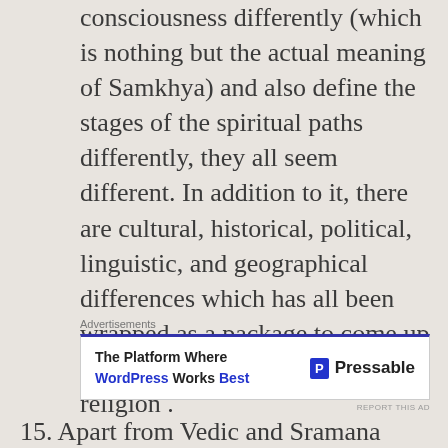consciousness differently (which is nothing but the actual meaning of Samkhya) and also define the stages of the spiritual paths differently, they all seem different. In addition to it, there are cultural, historical, political, linguistic, and geographical differences which has all been wrapped as a package to come up with the modern concept of religion .
[Figure (other): Advertisement banner for Pressable WordPress hosting. Text reads: 'The Platform Where WordPress Works Best' with Pressable logo on the right.]
15. Apart from Vedic and Sramana traditions, there were thousands of folk traditions with thousands of deities in India. Many were benevolent but absorbed into Buddhist